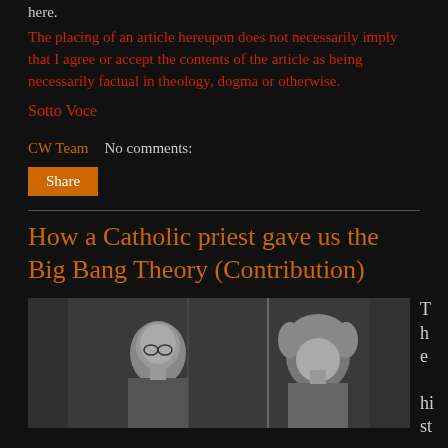here.
The placing of an article hereupon does not necessarily imply that I agree or accept the contents of the article as being necessarily factual in theology, dogma or otherwise.
Sotto Voce
CW Team   No comments:
Share
How a Catholic priest gave us the Big Bang Theory (Contribution)
[Figure (photo): Black and white photograph of two men, likely Lemaître and Einstein]
T h e hi st